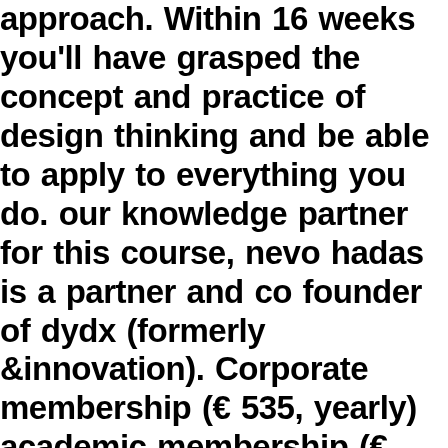approach. Within 16 weeks you'll have grasped the concept and practice of design thinking and be able to apply to everything you do. our knowledge partner for this course, nevo hadas is a partner and co founder of dydx (formerly &innovation). Corporate membership (€ 535, yearly) academic membership (€ 535, yearly) community follower (free). About nevo: c level executive with over 20 years experience in the digital marketing, product development, and software technology markets in south africa ,western europe, us and ssa. 9 years experience selling, managing and delivering high value innovation, transformation and product marketing consulting engagements for digital disruption in. Join us for our first corporate breakfast session of 2020 where nevo hadas of dy dx will unpack now